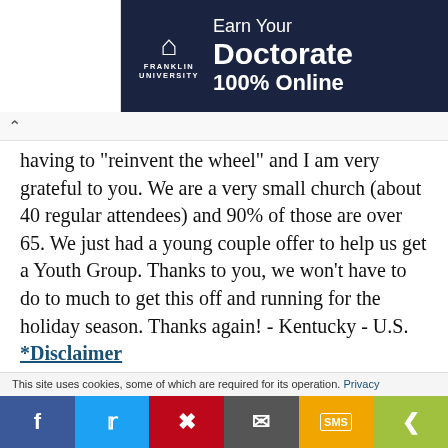[Figure (screenshot): Franklin University advertisement banner: white section on left, dark navy section on right with Franklin University arch logo and text 'Earn Your Doctorate 100% Online']
having to "reinvent the wheel" and I am very grateful to you. We are a very small church (about 40 regular attendees) and 90% of those are over 65. We just had a young couple offer to help us get a Youth Group. Thanks to you, we won't have to do to much to get this off and running for the holiday season. Thanks again! - Kentucky - U.S.
*Disclaimer
*I do the tithes at the end of the year for
This site uses cookies, some of which are required for its operation. Privacy